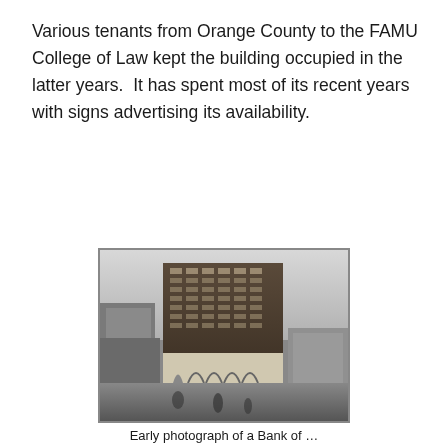Various tenants from Orange County to the FAMU College of Law kept the building occupied in the latter years.  It has spent most of its recent years with signs advertising its availability.
[Figure (photo): Black and white historical photograph of a tall multi-story brick commercial building (appears to be an early 20th century skyscraper) viewed from street level, with arched ground-floor entrances, surrounded by other buildings and street scene.]
Early photograph of a Bank of …